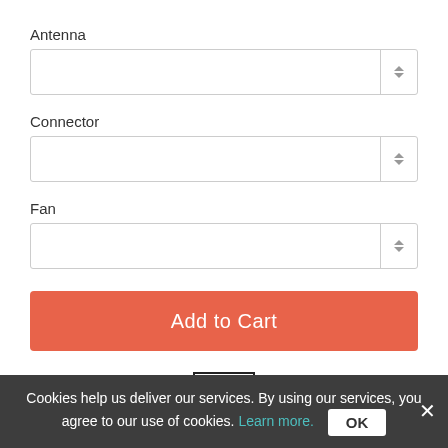Antenna
[Figure (screenshot): Dropdown select field for Antenna with up/down arrows]
Connector
[Figure (screenshot): Dropdown select field for Connector with up/down arrows]
Fan
[Figure (screenshot): Dropdown select field for Fan with up/down arrows]
Add to Cart
[Figure (illustration): Shield icon with a star, representing trust/security badge]
Buy with confide...
Cookies help us deliver our services. By using our services, you agree to our use of cookies. Learn more.